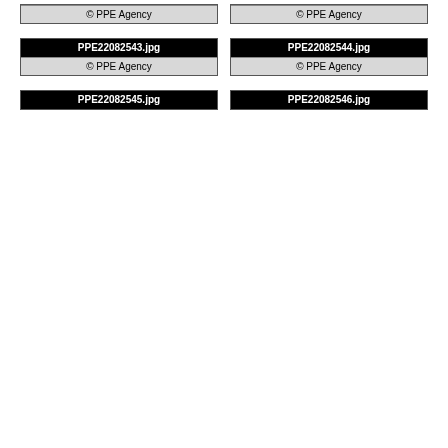[Figure (other): Photo card top-cropped, no header visible, footer: © PPE Agency]
[Figure (other): Photo card top-cropped, no header visible, footer: © PPE Agency]
[Figure (other): Photo card PPE22082543.jpg, gray image placeholder, footer: © PPE Agency]
[Figure (other): Photo card PPE22082544.jpg, gray image placeholder, footer: © PPE Agency]
[Figure (other): Photo card PPE22082545.jpg, gray image placeholder, bottom cropped]
[Figure (other): Photo card PPE22082546.jpg, gray image placeholder, bottom cropped]